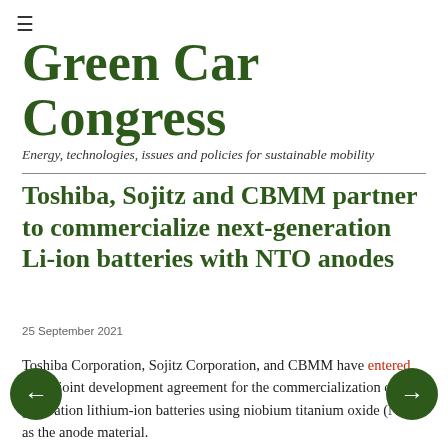≡
Green Car Congress
Energy, technologies, issues and policies for sustainable mobility
Toshiba, Sojitz and CBMM partner to commercialize next-generation Li-ion batteries with NTO anodes
25 September 2021
Toshiba Corporation, Sojitz Corporation, and CBMM have entered into a joint development agreement for the commercialization of next generation lithium-ion batteries using niobium titanium oxide (NTO) as the anode material.
One of the major requirements for rechargeable battery